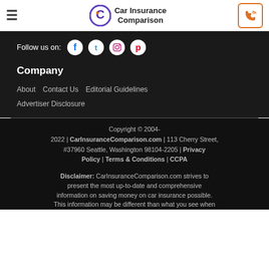Car Insurance Comparison
Follow us on: [Facebook] [Twitter] [Instagram] [Pinterest]
Company
About
Contact Us
Editorial Guidelines
Advertiser Disclosure
Copyright © 2004-2022 | CarInsuranceComparison.com | 113 Cherry Street, #37960 Seattle, Washington 98104-2205 | Privacy Policy | Terms & Conditions | CCPA
Disclaimer: CarInsuranceComparison.com strives to present the most up-to-date and comprehensive information on saving money on car insurance possible. This information may be different than what you see when